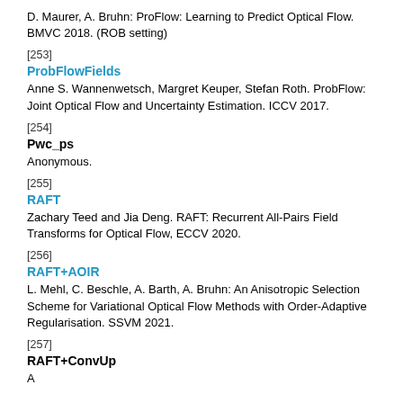D. Maurer, A. Bruhn: ProFlow: Learning to Predict Optical Flow. BMVC 2018. (ROB setting)
[253]
ProbFlowFields
Anne S. Wannenwetsch, Margret Keuper, Stefan Roth. ProbFlow: Joint Optical Flow and Uncertainty Estimation. ICCV 2017.
[254]
Pwc_ps
Anonymous.
[255]
RAFT
Zachary Teed and Jia Deng. RAFT: Recurrent All-Pairs Field Transforms for Optical Flow, ECCV 2020.
[256]
RAFT+AOIR
L. Mehl, C. Beschle, A. Barth, A. Bruhn: An Anisotropic Selection Scheme for Variational Optical Flow Methods with Order-Adaptive Regularisation. SSVM 2021.
[257]
RAFT+ConvUp
A